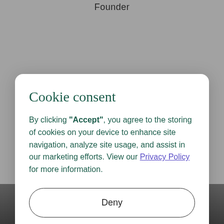Founder
[Figure (photo): Partial view of a person wearing a dark suit and light blue collar shirt, visible from chin downward at the bottom of the page.]
Cookie consent
By clicking “Accept”, you agree to the storing of cookies on your device to enhance site navigation, analyze site usage, and assist in our marketing efforts. View our Privacy Policy for more information.
Deny
Accept